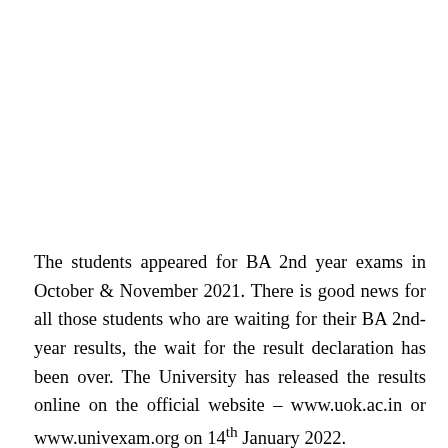The students appeared for BA 2nd year exams in October & November 2021. There is good news for all those students who are waiting for their BA 2nd-year results, the wait for the result declaration has been over. The University has released the results online on the official website – www.uok.ac.in or www.univexam.org on 14th January 2022.